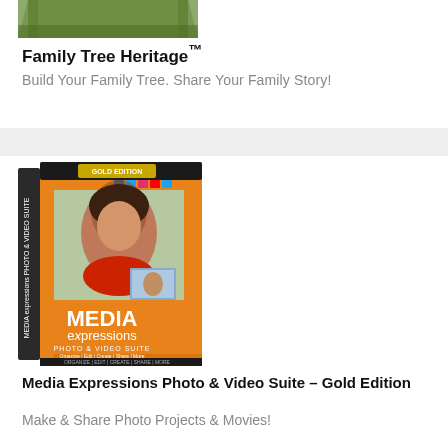[Figure (photo): Partial top view of a Family Tree Heritage software box/package]
Family Tree Heritage™
Build Your Family Tree. Share Your Family Story!
[Figure (photo): Media Expressions Photo & Video Suite Gold Edition software box showing a woman with dark hair on an orange box]
Media Expressions Photo & Video Suite – Gold Edition
Make & Share Photo Projects & Movies!